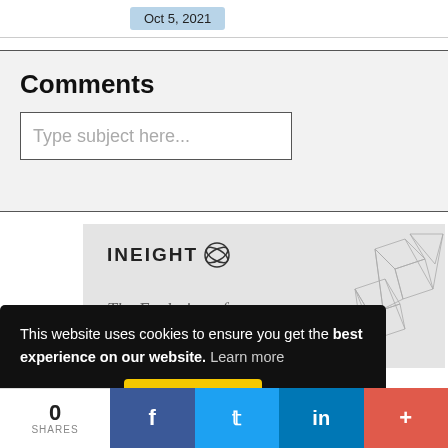Oct 5, 2021
Comments
Type subject here...
[Figure (screenshot): InEight logo and 'The Evolution of' text on grey card with geometric line art on right side]
This website uses cookies to ensure you get the best experience on our website.  Learn more
Got it!
0
SHARES